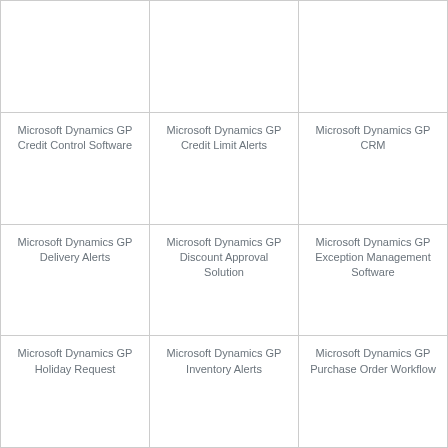Microsoft Dynamics GP Credit Control Software
Microsoft Dynamics GP Credit Limit Alerts
Microsoft Dynamics GP CRM
Microsoft Dynamics GP Delivery Alerts
Microsoft Dynamics GP Discount Approval Solution
Microsoft Dynamics GP Exception Management Software
Microsoft Dynamics GP Holiday Request
Microsoft Dynamics GP Inventory Alerts
Microsoft Dynamics GP Purchase Order Workflow